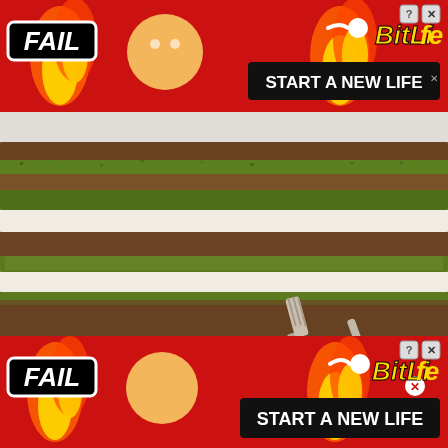[Figure (screenshot): BitLife mobile game advertisement banner (top) with red background, flames, FAIL badge, cartoon woman emoji, fire emoji, BitLife logo in yellow italic, question mark and X close buttons, START A NEW LIFE button on black background]
[Figure (photo): Close-up photo of a layered matcha green tea cake slice with alternating green and brown layers, cream filling, served on a white plate with a silver fork]
Matcha tea is the highest grade of green tea you
[Figure (screenshot): BitLife mobile game advertisement banner (bottom) with red background, flames, FAIL badge, cartoon woman emoji, fire emoji, BitLife logo in yellow italic, question mark and X close buttons, START A NEW LIFE button on black background]